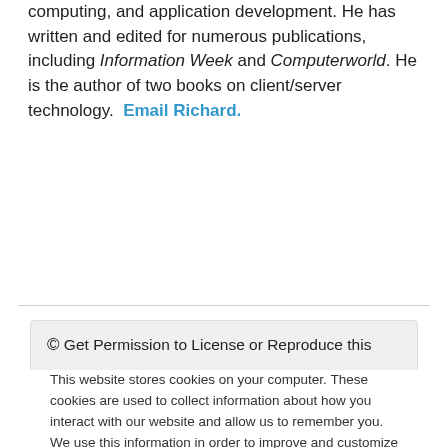computing, and application development. He has written and edited for numerous publications, including Information Week and Computerworld. He is the author of two books on client/server technology.  Email Richard.
© Get Permission to License or Reproduce this
This website stores cookies on your computer. These cookies are used to collect information about how you interact with our website and allow us to remember you. We use this information in order to improve and customize your browsing experience and for analytics and metrics about our visitors both on this website and other media. To find out more about the cookies we use, see our Privacy Policy. California residents have the right to direct us not to sell their personal information to third parties by filing an Opt-Out Request: Do Not Sell My Personal Info.